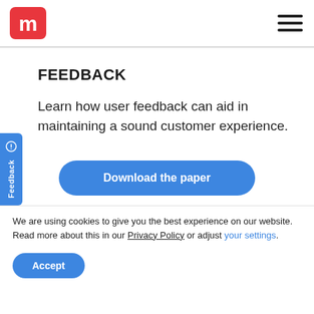m [logo] | hamburger menu
FEEDBACK
Learn how user feedback can aid in maintaining a sound customer experience.
Download the paper
We are using cookies to give you the best experience on our website.
Read more about this in our Privacy Policy or adjust your settings.
Accept